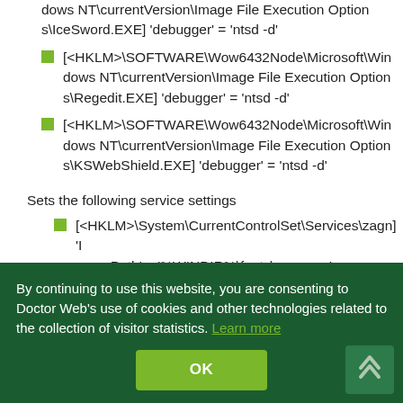[<HKLM>\SOFTWARE\Wow6432Node\Microsoft\Windows NT\currentVersion\Image File Execution Options\IceSword.EXE] 'debugger' = 'ntsd -d'
[<HKLM>\SOFTWARE\Wow6432Node\Microsoft\Windows NT\currentVersion\Image File Execution Options\Regedit.EXE] 'debugger' = 'ntsd -d'
[<HKLM>\SOFTWARE\Wow6432Node\Microsoft\Windows NT\currentVersion\Image File Execution Options\KSWebShield.EXE] 'debugger' = 'ntsd -d'
Sets the following service settings
[<HKLM>\System\CurrentControlSet\Services\zagn] 'ImagePath' = '%WINDIR%\fonts\zagn.sys'
Creates the following services
'zagn' %WINDIR%\fonts\zagn.sys
Malicious functions
By continuing to use this website, you are consenting to Doctor Web's use of cookies and other technologies related to the collection of visitor statistics. Learn more